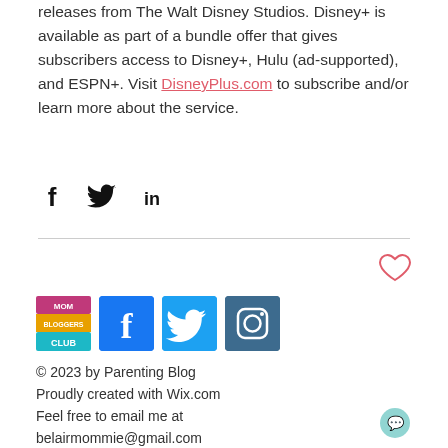releases from The Walt Disney Studios. Disney+ is available as part of a bundle offer that gives subscribers access to Disney+, Hulu (ad-supported), and ESPN+. Visit DisneyPlus.com to subscribe and/or learn more about the service.
[Figure (illustration): Social share icons: Facebook (f), Twitter (bird), LinkedIn (in)]
[Figure (illustration): Heart/like button icon (outline heart in salmon/red color)]
[Figure (illustration): Footer logos: Mom Bloggers Club badge, Facebook icon, Twitter icon, Instagram icon]
© 2023 by Parenting Blog
Proudly created with Wix.com
Feel free to email me at belairmommie@gmail.com
[Figure (illustration): Chat bubble icon in teal/mint color]